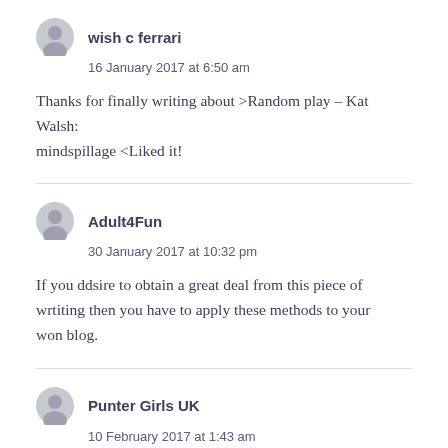wish c ferrari
16 January 2017 at 6:50 am
Thanks for finally writing about >Random play – Kat Walsh:
mindspillage <Liked it!
Adult4Fun
30 January 2017 at 10:32 pm
If you ddsire to obtain a great deal from this piece of wrtiting then you have to apply these methods to your
won blog.
Punter Girls UK
10 February 2017 at 1:43 am